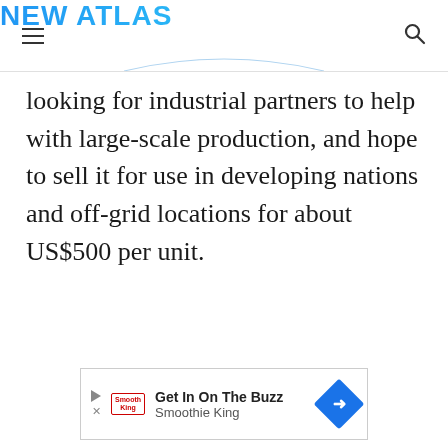NEW ATLAS
looking for industrial partners to help with large-scale production, and hope to sell it for use in developing nations and off-grid locations for about US$500 per unit.
[Figure (other): Advertisement banner for Smoothie King: 'Get In On The Buzz / Smoothie King']